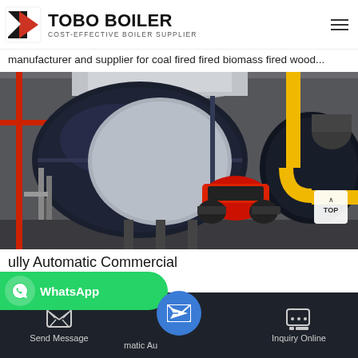[Figure (logo): TOBO BOILER logo with stylized T icon and tagline COST-EFFECTIVE BOILER SUPPLIER]
manufacturer and supplier for coal fired fired biomass fired wood...
[Figure (photo): Industrial boiler room showing two large cylindrical boilers, one with a red burner attached, yellow gas pipes visible in background, industrial facility setting]
ully Automatic Commercial
[Figure (infographic): WhatsApp contact button overlay (green pill shape) with WhatsApp icon and text]
Send Message
matic Au
Inquiry Online